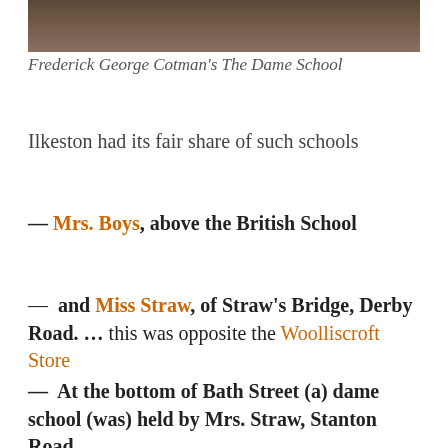[Figure (photo): Partial view of a painting — the bottom portion of Frederick George Cotman's The Dame School, showing figures in a dimly lit interior scene.]
Frederick George Cotman's The Dame School
Ilkeston had its fair share of such schools
— Mrs. Boys, above the British School
— and Miss Straw, of Straw's Bridge, Derby Road. … this was opposite the Woolliscroft Store
— At the bottom of Bath Street (a) dame school (was) held by Mrs. Straw, Stanton Road.